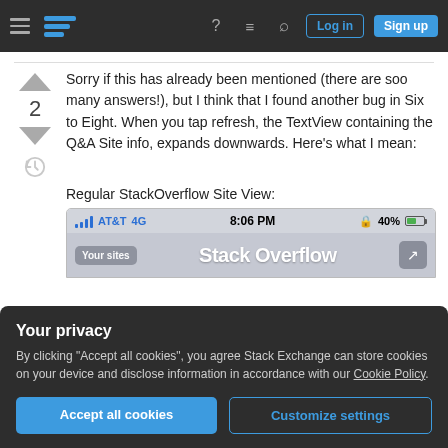Stack Exchange navigation bar with hamburger menu, logo, help, inbox, search icons, Log in and Sign up buttons
Sorry if this has already been mentioned (there are soo many answers!), but I think that I found another bug in Six to Eight. When you tap refresh, the TextView containing the Q&A Site info, expands downwards. Here's what I mean:
Regular StackOverflow Site View:
[Figure (screenshot): iPhone status bar showing AT&T 4G signal, time 8:06 PM, lock icon, 40% battery, and app bar showing 'Your sites', 'Stack Overflow' title, and share button]
Your privacy
By clicking "Accept all cookies", you agree Stack Exchange can store cookies on your device and disclose information in accordance with our Cookie Policy.
Accept all cookies
Customize settings